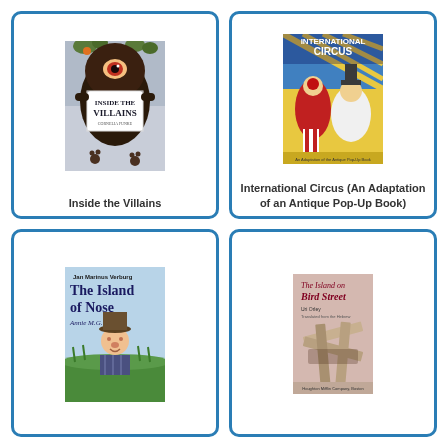[Figure (illustration): Book cover of 'Inside the Villains' showing a dark creature holding a sign with the title]
Inside the Villains
[Figure (illustration): Book cover of 'International Circus (An Adaptation of an Antique Pop-Up Book)' showing circus performers]
International Circus (An Adaptation of an Antique Pop-Up Book)
[Figure (illustration): Book cover of 'The Island of Nose' by Jan Marinus Verburg and Annie M.G. Schmidt, showing an elderly man with a hat]
[Figure (illustration): Book cover of 'The Island on Bird Street' by Uri Orley, showing a grey/brown abstract design with crossed planks]